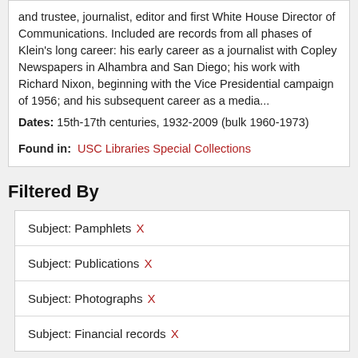and trustee, journalist, editor and first White House Director of Communications. Included are records from all phases of Klein's long career: his early career as a journalist with Copley Newspapers in Alhambra and San Diego; his work with Richard Nixon, beginning with the Vice Presidential campaign of 1956; and his subsequent career as a media...
Dates: 15th-17th centuries, 1932-2009 (bulk 1960-1973)
Found in: USC Libraries Special Collections
Filtered By
Subject: Pamphlets X
Subject: Publications X
Subject: Photographs X
Subject: Financial records X